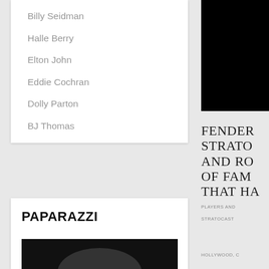Billy Seidman
Halle Berry
Elton John
Eddie Cochran
Dolly Parton
BJ Thomas
PAPARAZZI
[Figure (photo): Dark photograph partially visible at bottom of Paparazzi card]
[Figure (photo): Black photograph on right column, upper area]
FENDER STRATO AND RO OF FAM THAT HA
PLAYERS AND
STRATOCAST
HOLLYWOOD, C